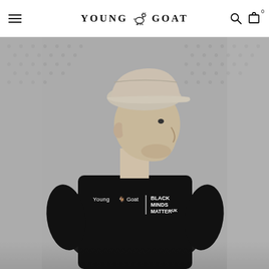Young Goat — navigation header with hamburger menu, logo, search icon, and cart (0)
[Figure (photo): Black and white photograph of a young man seen from behind and slightly to the side, wearing a black t-shirt with 'Young Goat | BLACK MINDS MATTER UK' logo on the back and a light-colored baseball cap. The background shows a textured fabric or curtain with a dotted pattern.]